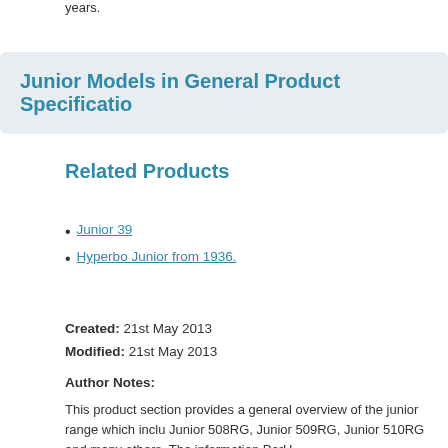years.
Junior Models in General Product Specification
Related Products
Junior 39
Hyperbo Junior from 1936.
Created: 21st May 2013
Modified: 21st May 2013
Author Notes:
This product section provides a general overview of the junior range which inclu Junior 508RG, Junior 509RG, Junior 510RG and many others. The information PerH